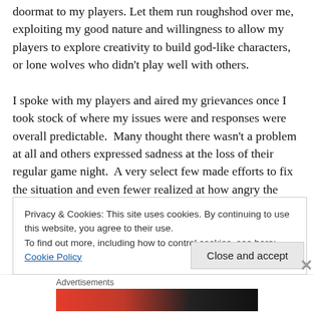doormat to my players. Let them run roughshod over me, exploiting my good nature and willingness to allow my players to explore creativity to build god-like characters, or lone wolves who didn't play well with others.

I spoke with my players and aired my grievances once I took stock of where my issues were and responses were overall predictable. Many thought there wasn't a problem at all and others expressed sadness at the loss of their regular game night. A very select few made efforts to fix the situation and even fewer realized at how angry the situation had made me. I am incurably Canadian in my
Privacy & Cookies: This site uses cookies. By continuing to use this website, you agree to their use.
To find out more, including how to control cookies, see here: Cookie Policy
Close and accept
Advertisements